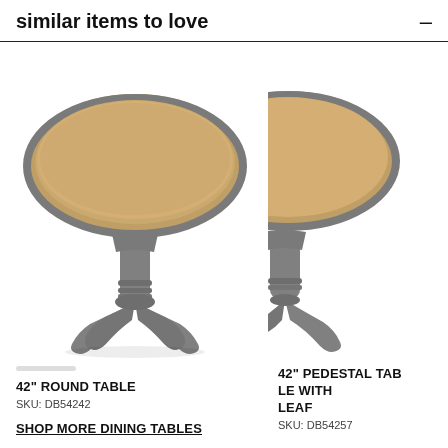similar items to love
[Figure (photo): Round pedestal dining table with brown wood top and gray painted pedestal base with four curved legs, shown on white background. Product: 42" ROUND TABLE, SKU: DB54242]
42" ROUND TABLE
SKU: DB54242
[Figure (photo): Partial view of a round pedestal dining table with brown wood top and gray painted base, cropped on right side. Product: 42" PEDESTAL TABLE WITH LEAF, SKU: DB54257]
42" PEDESTAL TABLE WITH LEAF
SKU: DB54257
SHOP MORE DINING TABLES